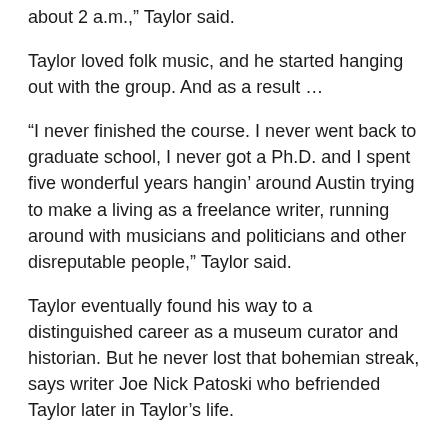about 2 a.m.,” Taylor said.
Taylor loved folk music, and he started hanging out with the group. And as a result …
“I never finished the course. I never went back to graduate school, I never got a Ph.D. and I spent five wonderful years hangin’ around Austin trying to make a living as a freelance writer, running around with musicians and politicians and other disreputable people,” Taylor said.
Taylor eventually found his way to a distinguished career as a museum curator and historian. But he never lost that bohemian streak, says writer Joe Nick Patoski who befriended Taylor later in Taylor’s life.